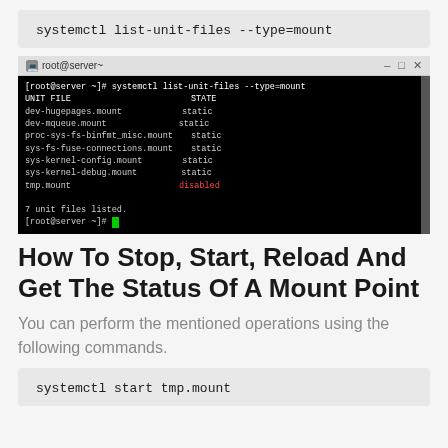systemctl list-unit-files --type=mount
[Figure (screenshot): Terminal window showing output of 'systemctl list-unit-files --type=mount' command. Lists UNIT FILE and STATE columns. Entries: dev-hugepages.mount static, dev-mqueue.mount static, proc-sys-fs-binfmt_misc.mount static, sys-fs-fuse-connections.mount static, sys-kernel-config.mount static, sys-kernel-debug.mount static, tmp.mount disabled. Shows '7 unit files listed.' and a prompt [root@server ~]#]
How To Stop, Start, Reload And Get The Status Of A Mount Point
You can perform the mentioned operations using the following commands.
systemctl start tmp.mount